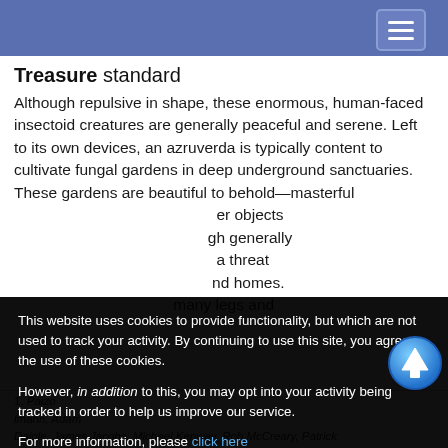Treasure standard
Although repulsive in shape, these enormous, human-faced insectoid creatures are generally peaceful and serene. Left to its own devices, an azruverda is typically content to cultivate fungal gardens in deep underground sanctuaries. These gardens are beautiful to behold—masterful [er objects] [gh generally] [a threat] [nd homes.] [many legs and]
This website uses cookies to provide functionality, but which are not used to track your activity. By continuing to use this site, you agree to the use of these cookies.

However, in addition to this, you may opt into your activity being tracked in order to help us improve our service.

For more information, please click here
1, Paizo
lmahn, Adam
Daigle, James Jacobs, Michael Kenway, Rob McCreary, Patrick